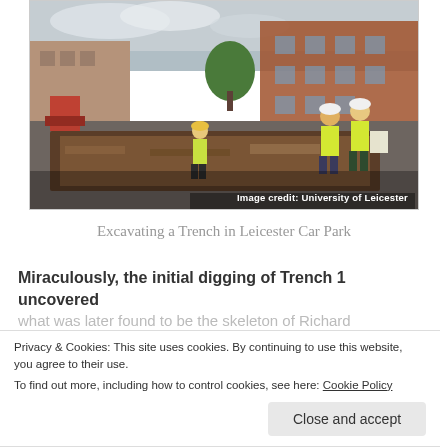[Figure (photo): Archaeological excavation of a trench in a car park in Leicester. Workers in yellow high-visibility vests and hard hats stand in and around a large dug trench. Red brick buildings and machinery visible in background. Overcast sky.]
Image credit: University of Leicester
Excavating a Trench in Leicester Car Park
Miraculously, the initial digging of Trench 1 uncovered what was later found to be the skeleton of Richard...
Privacy & Cookies: This site uses cookies. By continuing to use this website, you agree to their use.
To find out more, including how to control cookies, see here: Cookie Policy